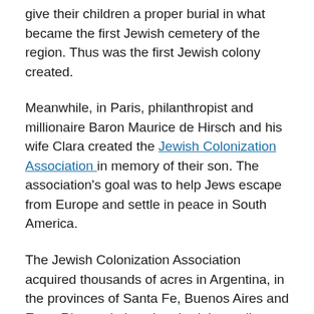give their children a proper burial in what became the first Jewish cemetery of the region. Thus was the first Jewish colony created.
Meanwhile, in Paris, philanthropist and millionaire Baron Maurice de Hirsch and his wife Clara created the Jewish Colonization Association in memory of their son. The association's goal was to help Jews escape from Europe and settle in peace in South America.
The Jewish Colonization Association acquired thousands of acres in Argentina, in the provinces of Santa Fe, Buenos Aires and Entre Rios and also absorbed the earlier colony. The association also brought more colonists, mainly from Russia, and